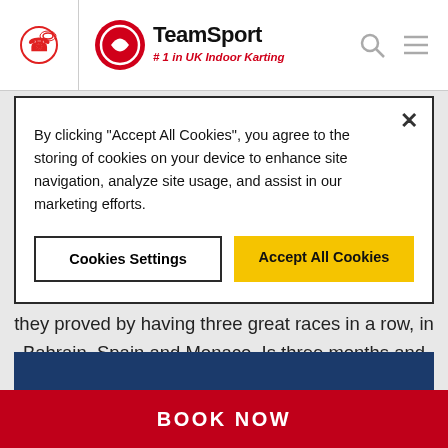TeamSport #1 in UK Indoor Karting
By clicking "Accept All Cookies", you agree to the storing of cookies on your device to enhance site navigation, analyze site usage, and assist in our marketing efforts.
Cookies Settings | Accept All Cookies
they proved by having three great races in a row, in Bahrain, Spain and Monaco. Is three months and nine races enough time for them to turn things around? Let's wait and see! As Lewis Hamilton said last week, 'its game on'!
BOOK NOW